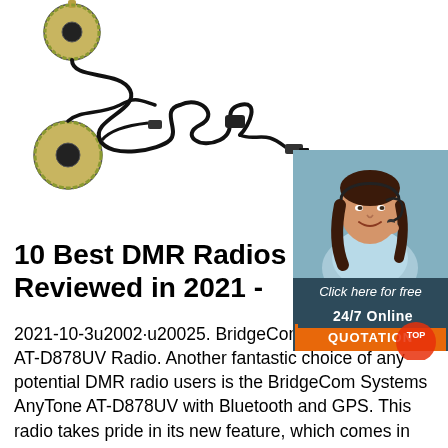[Figure (photo): Product photo of a two-way radio headset/speaker mic kit with coiled cable and adhesive disc speakers on a white background]
[Figure (infographic): Sidebar advertisement box with '24/7 Online' header, a female customer service agent wearing a headset, 'Click here for free chat!' text, and an orange QUOTATION button]
10 Best DMR Radios Reviewed in 2021 -
2021-10-3u2002·u20025. BridgeCom Systems AnyTone AT-D878UV Radio. Another fantastic choice of any potential DMR radio users is the BridgeCom Systems AnyTone AT-D878UV with Bluetooth and GPS. This radio takes pride in its new feature, which comes in the form of its Bluetooth connectivity.